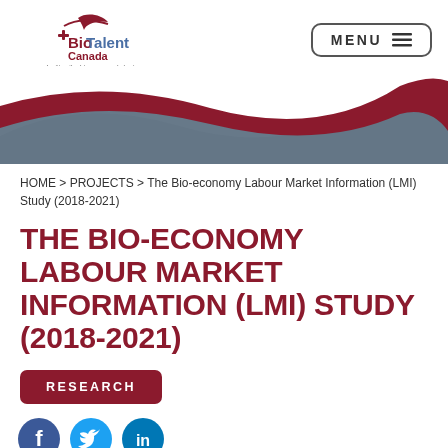[Figure (logo): BioTalent Canada logo with text 'Igniting the bio-economy's brainpower']
[Figure (illustration): Decorative wave banner with red, dark grey, and light grey/white wave shapes]
HOME > PROJECTS > The Bio-economy Labour Market Information (LMI) Study (2018-2021)
THE BIO-ECONOMY LABOUR MARKET INFORMATION (LMI) STUDY (2018-2021)
RESEARCH
[Figure (illustration): Three social media icons: Facebook (blue), Twitter (light blue), LinkedIn (blue)]